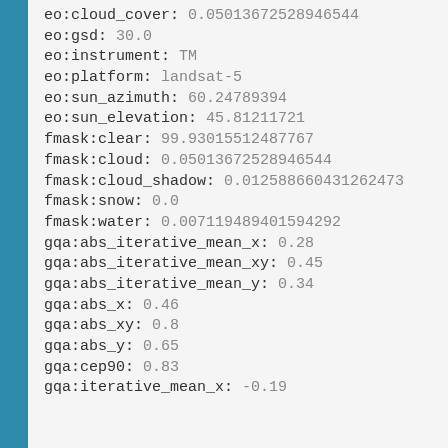eo:cloud_cover: 0.05013672528946544
eo:gsd: 30.0
eo:instrument: TM
eo:platform: landsat-5
eo:sun_azimuth: 60.24789394
eo:sun_elevation: 45.81211721
fmask:clear: 99.93015512487767
fmask:cloud: 0.05013672528946544
fmask:cloud_shadow: 0.012588660431262473
fmask:snow: 0.0
fmask:water: 0.007119489401594292
gqa:abs_iterative_mean_x: 0.28
gqa:abs_iterative_mean_xy: 0.45
gqa:abs_iterative_mean_y: 0.34
gqa:abs_x: 0.46
gqa:abs_xy: 0.8
gqa:abs_y: 0.65
gqa:cep90: 0.83
gqa:iterative_mean_x: -0.19